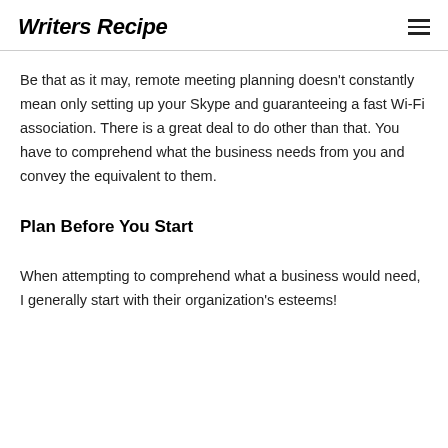Writers Recipe
Be that as it may, remote meeting planning doesn't constantly mean only setting up your Skype and guaranteeing a fast Wi-Fi association. There is a great deal to do other than that. You have to comprehend what the business needs from you and convey the equivalent to them.
Plan Before You Start
When attempting to comprehend what a business would need, I generally start with their organization's esteems!